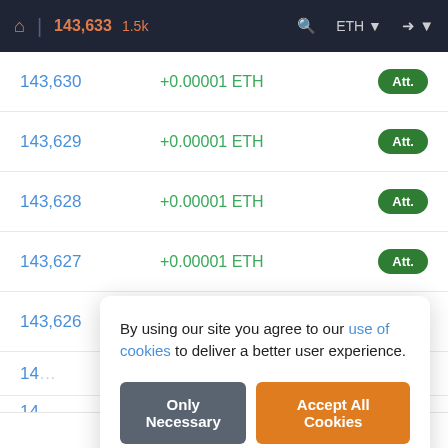143,633  1.5k  ETH
| Block | Value | Type |
| --- | --- | --- |
| 143,630 | +0.00001 ETH | Att. |
| 143,629 | +0.00001 ETH | Att. |
| 143,628 | +0.00001 ETH | Att. |
| 143,627 | +0.00001 ETH | Att. |
| 143,626 | +0.00001 ETH | Att. |
| 14... | ...0.00001 ETH... | ... |
| 14... |  |  |
By using our site you agree to our use of cookies to deliver a better user experience.
1  of 10